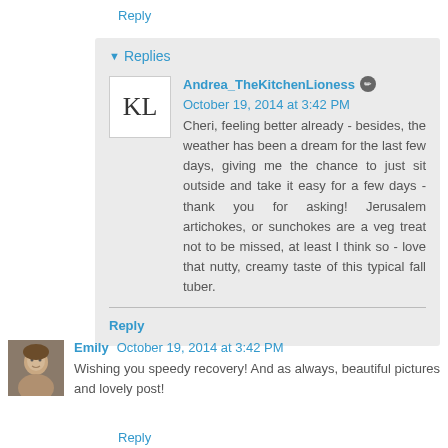Reply
Replies
Andrea_TheKitchenLioness October 19, 2014 at 3:42 PM
Cheri, feeling better already - besides, the weather has been a dream for the last few days, giving me the chance to just sit outside and take it easy for a few days - thank you for asking! Jerusalem artichokes, or sunchokes are a veg treat not to be missed, at least I think so - love that nutty, creamy taste of this typical fall tuber.
Reply
Emily October 19, 2014 at 3:42 PM
Wishing you speedy recovery! And as always, beautiful pictures and lovely post!
Reply